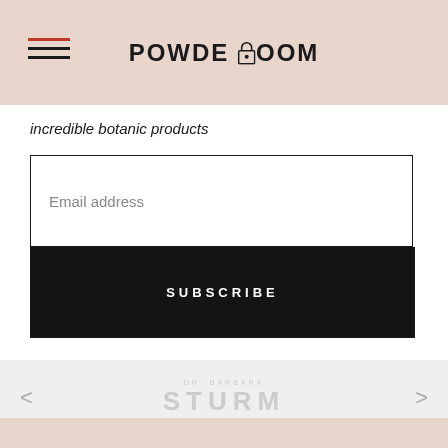POWDEROOM
incredible botanic products
[Figure (screenshot): Email address input field with placeholder text 'Email address']
SUBSCRIBE
[Figure (logo): Dr. Barbara Sturm brand logo in light gray, with carousel navigation arrows on either side]